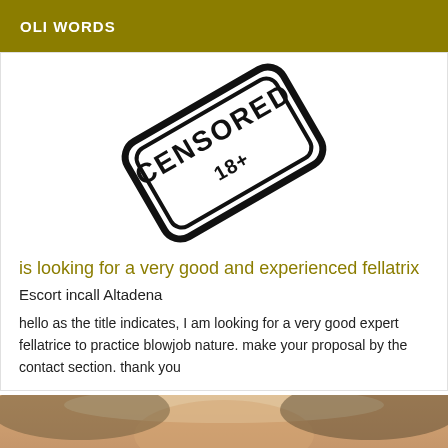OLI WORDS
[Figure (photo): A stamp or label image with text, shown at an angle, black on white background]
is looking for a very good and experienced fellatrix
Escort incall Altadena
hello as the title indicates, I am looking for a very good expert fellatrice to practice blowjob nature. make your proposal by the contact section. thank you
[Figure (photo): Bottom portion of a person's face/head, cropped]